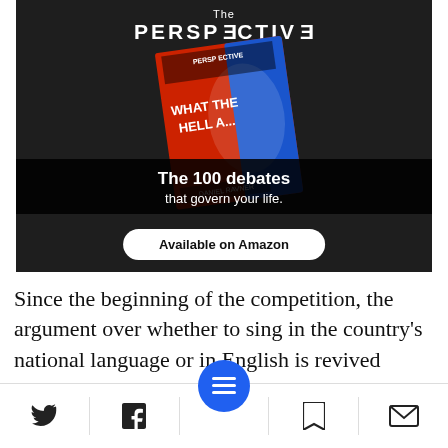[Figure (illustration): Advertisement for 'The Perspective' book titled 'What The Hell...' showing the book cover on a dark background with text 'The 100 debates that govern your life.' and an 'Available on Amazon' button. Book is by Daniel Ravner.]
Since the beginning of the competition, the argument over whether to sing in the country's national language or in English is revived annually and carries with it a political and national burden [relatively young
[Figure (infographic): Bottom navigation bar with Twitter, Facebook, menu (blue circle), bookmark, and mail icons]